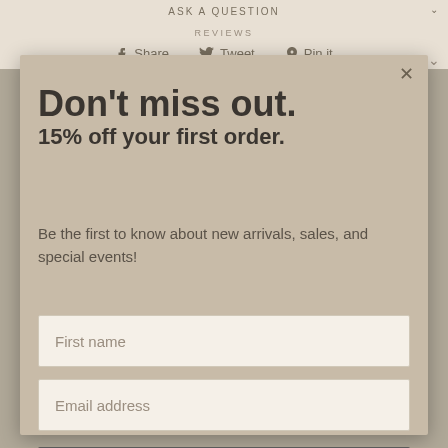ASK A QUESTION
REVIEWS
f Share   Tweet   Pin it
Don't miss out.
15% off your first order.
Be the first to know about new arrivals, sales, and special events!
You May Also Like
First name
Email address
Subscribe